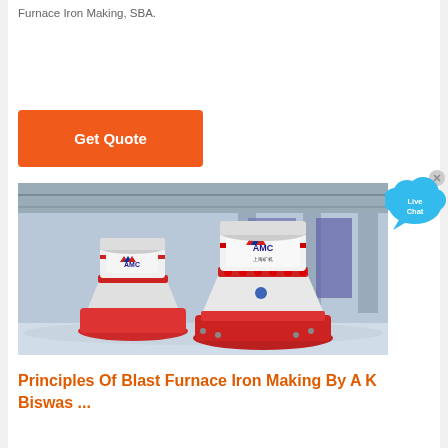Furnace Iron Making, SBA.
[Figure (other): Orange 'Get Quote' button]
[Figure (photo): Industrial factory floor showing two white AMC cone crushers in an industrial hall with purple-lit background]
[Figure (other): Live Chat speech bubble widget with blue cloud shape and 'Live Chat' text]
Principles Of Blast Furnace Iron Making By A K Biswas ...